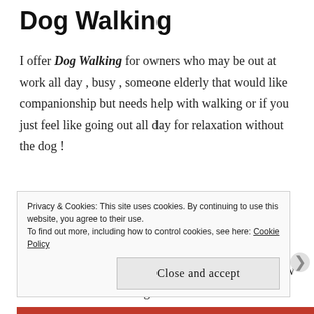Dog Walking
I offer Dog Walking for owners who may be out at work all day , busy , someone elderly that would like companionship but needs help with walking or if you just feel like going out all day for relaxation without the dog !
At Aussie Dog Care I promote myself in being a friendly , reliable and professional dog walker. I will always try to walk your dog in an area that they know and is suitable for the dog
Privacy & Cookies: This site uses cookies. By continuing to use this website, you agree to their use.
To find out more, including how to control cookies, see here: Cookie Policy
Close and accept